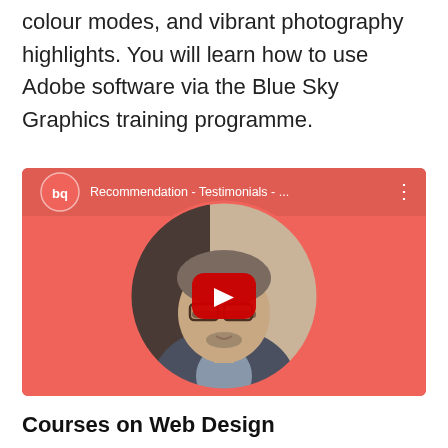colour modes, and vibrant photography highlights. You will learn how to use Adobe software via the Blue Sky Graphics training programme.
[Figure (screenshot): YouTube-style embedded video thumbnail showing a man (testimonial speaker) with curly grey hair and glasses, inside a circular crop on a coral/red background. The video title reads 'Recommendation - Testimonials - ...' with a Blue Sky Graphics logo (bq) in the top left and a YouTube play button overlay in the center.]
Courses on Web Design